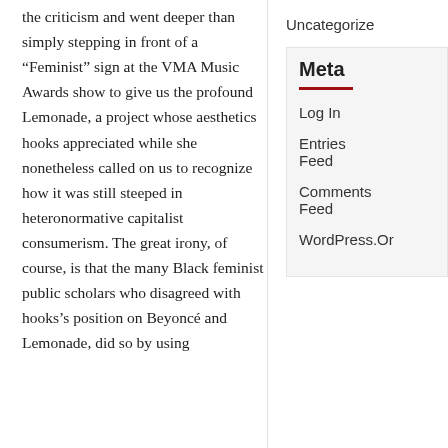the criticism and went deeper than simply stepping in front of a “Feminist” sign at the VMA Music Awards show to give us the profound Lemonade, a project whose aesthetics hooks appreciated while she nonetheless called on us to recognize how it was still steeped in heteronormative capitalist consumerism. The great irony, of course, is that the many Black feminist public scholars who disagreed with hooks’s position on Beyoncé and Lemonade, did so by using
Uncategorized
Meta
Log In
Entries Feed
Comments Feed
WordPress.Org